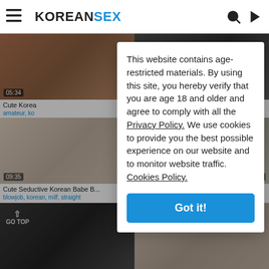KOREANSEX
[Figure (screenshot): Video thumbnail grid with blurred adult content thumbnails showing timestamps 05:34, 09:35, 28:35]
This website contains age-restricted materials. By using this site, you hereby verify that you are age 18 and older and agree to comply with all the Privacy Policy. We use cookies to provide you the best possible experience on our website and to monitor website traffic. Cookies Policy.
Got it!
Cute Korea
amateur, ko
Cute Seductive Korean Babe B...
blowjob, korean, milf, straight
Cute Korean Teen Cam
amateur, asian, webcam